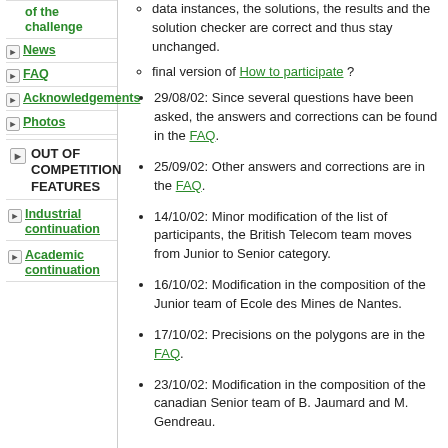of the challenge
News
FAQ
Acknowledgements
Photos
OUT OF COMPETITION FEATURES
Industrial continuation
Academic continuation
data instances, the solutions, the results and the solution checker are correct and thus stay unchanged.
final version of How to participate ?
29/08/02: Since several questions have been asked, the answers and corrections can be found in the FAQ.
25/09/02: Other answers and corrections are in the FAQ.
14/10/02: Minor modification of the list of participants, the British Telecom team moves from Junior to Senior category.
16/10/02: Modification in the composition of the Junior team of Ecole des Mines de Nantes.
17/10/02: Precisions on the polygons are in the FAQ.
23/10/02: Modification in the composition of the canadian Senior team of B. Jaumard and M. Gendreau.